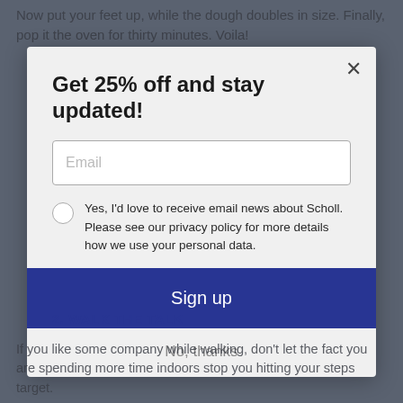Now put your feet up, while the dough doubles in size. Finally, pop it the oven for thirty minutes. Voila!
Get 25% off and stay updated!
Email
Yes, I'd love to receive email news about Scholl. Please see our privacy policy for more details how we use your personal data.
Sign up
2. WALK THE TALK
No, thanks
If you like some company while walking, don't let the fact you are spending more time indoors stop you hitting your steps target.